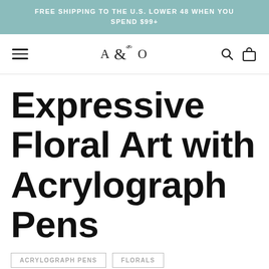FREE SHIPPING TO THE U.S. LOWER 48 WHEN YOU SPEND $99+
[Figure (logo): A & O logo with decorative ampersand and floral element, navigation bar with hamburger menu, search icon, and shopping bag icon]
Expressive Floral Art with Acrylograph Pens
ACRYLOGRAPH PENS
FLORALS